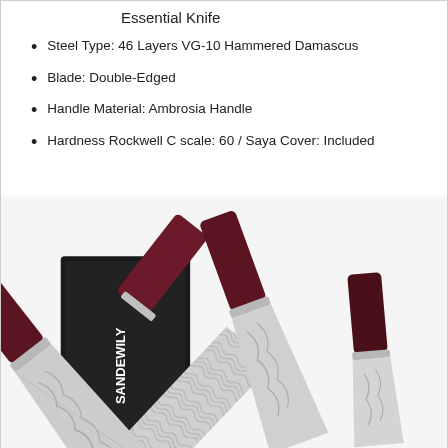Essential Knife
Steel Type: 46 Layers VG-10 Hammered Damascus
Blade: Double-Edged
Handle Material: Ambrosia Handle
Hardness Rockwell C scale: 60 / Saya Cover: Included
[Figure (photo): Three Damascus steel kitchen knives with dark red/maroon pakkawood handles and patterned Damascus blades, displayed in front of a black SANDEWILY branded box.]